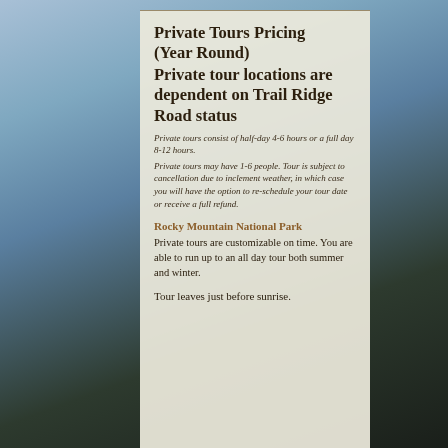Private Tours Pricing (Year Round)
Private tour locations are dependent on Trail Ridge Road status
Private tours consist of half-day 4-6 hours or a full day 8-12 hours.
Private tours may have 1-6 people. Tour is subject to cancellation due to inclement weather, in which case you will have the option to re-schedule your tour date or receive a full refund.
Rocky Mountain National Park
Private tours are customizable on time. You are able to run up to an all day tour both summer and winter.
Tour leaves just before sunrise.